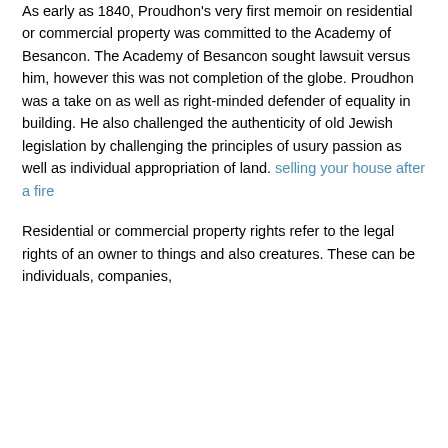As early as 1840, Proudhon's very first memoir on residential or commercial property was committed to the Academy of Besancon. The Academy of Besancon sought lawsuit versus him, however this was not completion of the globe. Proudhon was a take on as well as right-minded defender of equality in building. He also challenged the authenticity of old Jewish legislation by challenging the principles of usury passion as well as individual appropriation of land. selling your house after a fire
Residential or commercial property rights refer to the legal rights of an owner to things and also creatures. These can be individuals, companies,